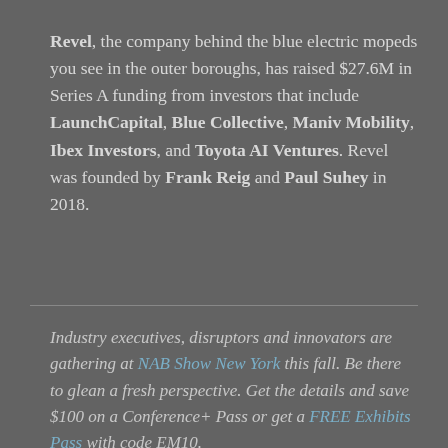Revel, the company behind the blue electric mopeds you see in the outer boroughs, has raised $27.6M in Series A funding from investors that include LaunchCapital, Blue Collective, Maniv Mobility, Ibex Investors, and Toyota AI Ventures. Revel was founded by Frank Reig and Paul Suhey in 2018.
Industry executives, disruptors and innovators are gathering at NAB Show New York this fall. Be there to glean a fresh perspective. Get the details and save $100 on a Conference+ Pass or get a FREE Exhibits Pass with code EM10.